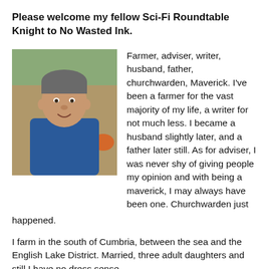Please welcome my fellow Sci-Fi Roundtable Knight to No Wasted Ink.
[Figure (photo): Portrait photo of an older man in a blue shirt, seated outdoors with trees and a pumpkin visible in the background.]
Farmer, adviser, writer, husband, father, churchwarden, Maverick. I've been a farmer for the vast majority of my life, a writer for not much less. I became a husband slightly later, and a father later still. As for adviser, I was never shy of giving people my opinion and with being a maverick, I may always have been one. Churchwarden just happened.
I farm in the south of Cumbria, between the sea and the English Lake District. Married, three adult daughters and still I have no dress sense.
When and why did you begin writing?